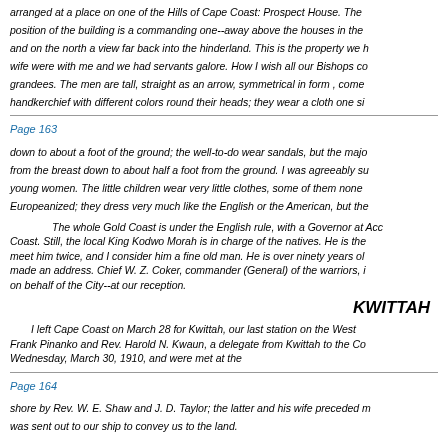arranged at a place on one of the Hills of Cape Coast: Prospect House. The position of the building is a commanding one--away above the houses in the and on the north a view far back into the hinderland. This is the property we h wife were with me and we had servants galore. How I wish all our Bishops co grandees. The men are tall, straight as an arrow, symmetrical in form , come handkerchief with different colors round their heads; they wear a cloth one si
Page 163
down to about a foot of the ground; the well-to-do wear sandals, but the majo from the breast down to about half a foot from the ground. I was agreeably su young women. The little children wear very little clothes, some of them none Europeanized; they dress very much like the English or the American, but the
The whole Gold Coast is under the English rule, with a Governor at Acc Coast. Still, the local King Kodwo Morah is in charge of the natives. He is the meet him twice, and I consider him a fine old man. He is over ninety years ol made an address. Chief W. Z. Coker, commander (General) of the warriors, i on behalf of the City--at our reception.
KWITTAH
I left Cape Coast on March 28 for Kwittah, our last station on the West Frank Pinanko and Rev. Harold N. Kwaun, a delegate from Kwittah to the Co Wednesday, March 30, 1910, and were met at the
Page 164
shore by Rev. W. E. Shaw and J. D. Taylor; the latter and his wife preceded m was sent out to our ship to convey us to the land.